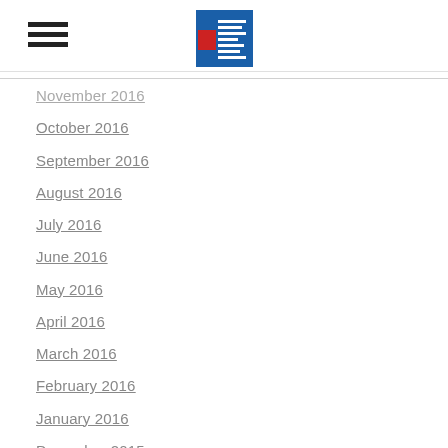Navigation header with hamburger menu and logo
November 2016
October 2016
September 2016
August 2016
July 2016
June 2016
May 2016
April 2016
March 2016
February 2016
January 2016
December 2015
November 2015
October 2015
September 2015
August 2015
July 2015
June 2015
May 2015